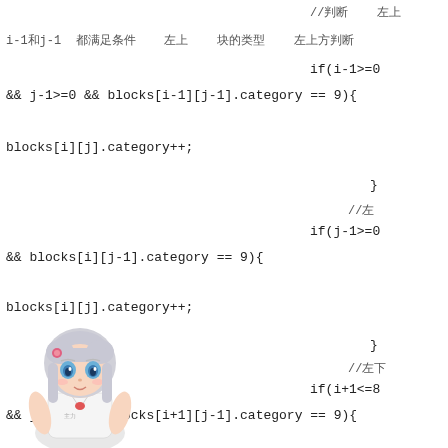//判断 左上
i-1和j-1 都满足条件 判断 左上方 块的类型
if(i-1>=0 && j-1>=0 && blocks[i-1][j-1].category == 9){
blocks[i][j].category++;
}
//左
if(j-1>=0 && blocks[i][j-1].category == 9){
blocks[i][j].category++;
}
//左下
if(i+1<=8 && j-1>=0 && blocks[i+1][j-1].category == 9){
[Figure (illustration): Anime character illustration of a girl with silver/white hair, blue eyes, wearing a white school uniform with a red ribbon. Positioned at bottom-left corner.]